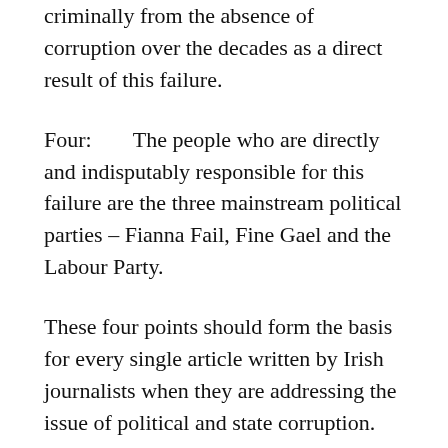criminally from the absence of corruption over the decades as a direct result of this failure.
Four:    The people who are directly and indisputably responsible for this failure are the three mainstream political parties – Fianna Fail, Fine Gael and the Labour Party.
These four points should form the basis for every single article written by Irish journalists when they are addressing the issue of political and state corruption.
Unfortunately, Irish journalists have a very poor record of speaking truth to power. Instead, we get articles like that written by Ms. Byrne that pulls punches all over the place out